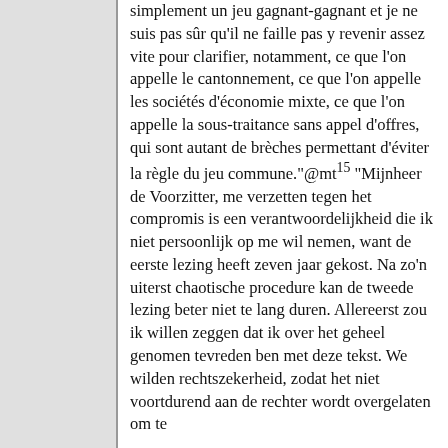simplement un jeu gagnant-gagnant et je ne suis pas sûr qu'il ne faille pas y revenir assez vite pour clarifier, notamment, ce que l'on appelle le cantonnement, ce que l'on appelle les sociétés d'économie mixte, ce que l'on appelle la sous-traitance sans appel d'offres, qui sont autant de brèches permettant d'éviter la règle du jeu commune."@mt15 "Mijnheer de Voorzitter, me verzetten tegen het compromis is een verantwoordelijkheid die ik niet persoonlijk op me wil nemen, want de eerste lezing heeft zeven jaar gekost. Na zo'n uiterst chaotische procedure kan de tweede lezing beter niet te lang duren. Allereerst zou ik willen zeggen dat ik over het geheel genomen tevreden ben met deze tekst. We wilden rechtszekerheid, zodat het niet voortdurend aan de rechter wordt overgelaten om te